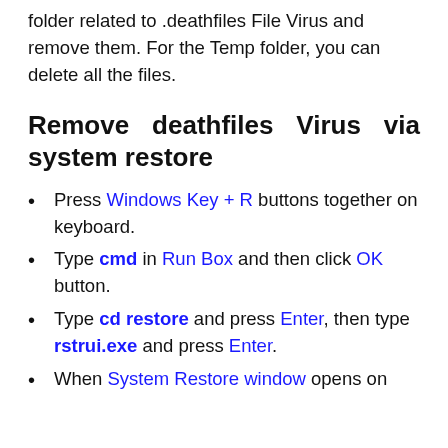folder related to .deathfiles File Virus and remove them. For the Temp folder, you can delete all the files.
Remove deathfiles Virus via system restore
Press Windows Key + R buttons together on keyboard.
Type cmd in Run Box and then click OK button.
Type cd restore and press Enter, then type rstrui.exe and press Enter.
When System Restore window opens on